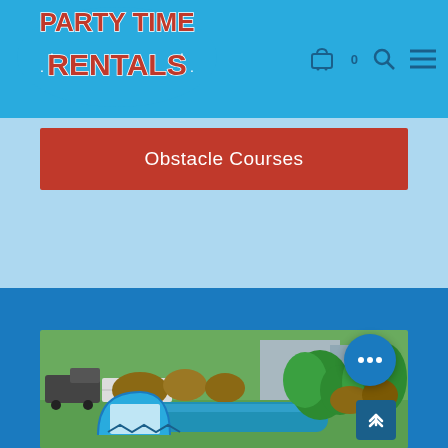[Figure (logo): Party Time Rentals logo with red and white western-style lettering on blue background]
Obstacle Courses
[Figure (photo): Inflatable obstacle course with blue, green, and brown colors set up on grass outdoors, with trucks and a barn in the background]